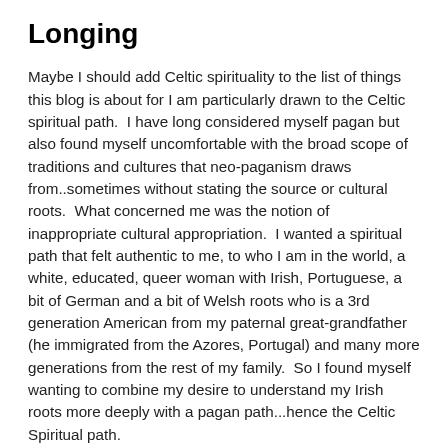Longing
Maybe I should add Celtic spirituality to the list of things this blog is about for I am particularly drawn to the Celtic spiritual path.  I have long considered myself pagan but also found myself uncomfortable with the broad scope of traditions and cultures that neo-paganism draws from..sometimes without stating the source or cultural roots.  What concerned me was the notion of inappropriate cultural appropriation.  I wanted a spiritual path that felt authentic to me, to who I am in the world, a white, educated, queer woman with Irish, Portuguese, a bit of German and a bit of Welsh roots who is a 3rd generation American from my paternal great-grandfather (he immigrated from the Azores, Portugal) and many more generations from the rest of my family.  So I found myself wanting to combine my desire to understand my Irish roots more deeply with a pagan path...hence the Celtic Spiritual path.
One of the books that I have read and I am now re-reading is Frank MacEowen's book The Mist-Filled Path: Celtic Wisdom for Exiles, Wanderers and Seekers.  I was re-